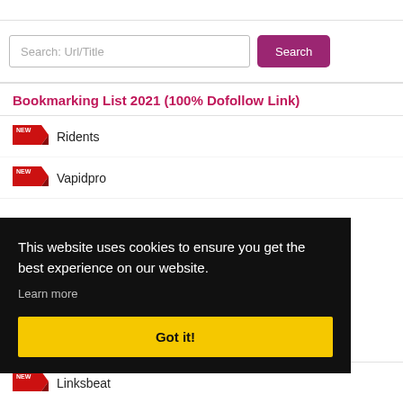Search: Url/Title
Search
Bookmarking List 2021 (100% Dofollow Link)
Ridents
Vapidpro
This website uses cookies to ensure you get the best experience on our website. Learn more
Got it!
Linksbeat